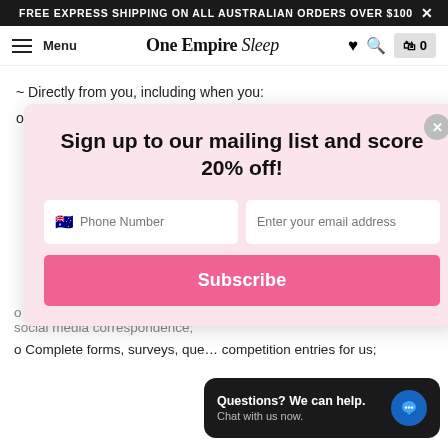FREE EXPRESS SHIPPING ON ALL AUSTRALIAN ORDERS OVER $100  ×
Menu  One Empire sleep  [heart] [search] [bag] 0
~ Directly from you, including when you:
o Browse or interact with our Site;
[Figure (screenshot): Pink modal popup with title 'Sign up to our mailing list and score 20% off!', phone number input with Australian flag, email address input, and pink Subscribe button. Close button (×) in top right of modal.]
o Interact with us in postal, phone, email, electronic, mobile application or social media correspondence;
o Complete forms, surveys, que… competition entries for us;
[Figure (screenshot): Dark chat widget in bottom right: 'Questions? We can help. Chat with us now.' with blue chat bubble icon.]